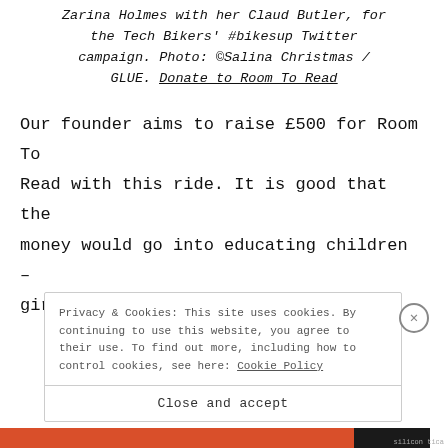Zarina Holmes with her Claud Butler, for the Tech Bikers' #bikesup Twitter campaign. Photo: ©Salina Christmas / GLUE. Donate to Room To Read
Our founder aims to raise £500 for Room To Read with this ride. It is good that the money would go into educating children – girls included – to read.
Privacy & Cookies: This site uses cookies. By continuing to use this website, you agree to their use. To find out more, including how to control cookies, see here: Cookie Policy
Close and accept